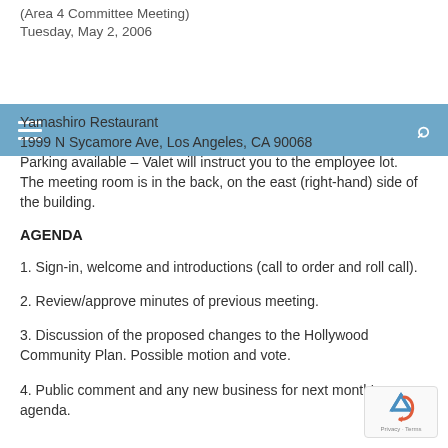(Area 4 Committee Meeting)
Tuesday, May 2, 2006
[Figure (screenshot): Navigation bar with hamburger menu icon on the left and search icon on the right, blue background (#6fa8c8)]
Yamashiro Restaurant
1999 N Sycamore Ave, Los Angeles, CA 90068
Parking available – Valet will instruct you to the employee lot.
The meeting room is in the back, on the east (right-hand) side of the building.
AGENDA
1. Sign-in, welcome and introductions (call to order and roll call).
2. Review/approve minutes of previous meeting.
3. Discussion of the proposed changes to the Hollywood Community Plan. Possible motion and vote.
4. Public comment and any new business for next month's agenda.